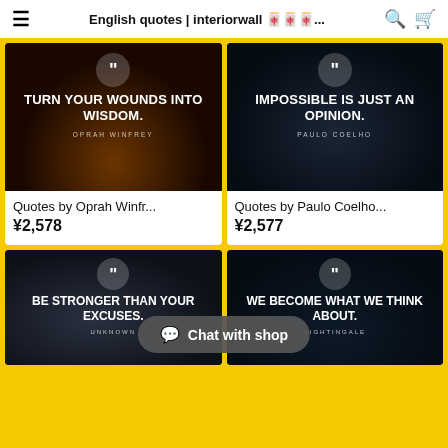English quotes | interiorwall 壁...
[Figure (photo): Product card image: quote poster with text 'TURN YOUR WOUNDS INTO WISDOM.' by Oprah Winfrey over dark warm city skyline background]
Quotes by Oprah Winfr...
¥2,578
[Figure (photo): Product card image: quote poster with text 'IMPOSSIBLE IS JUST AN OPINION.' by Paulo Coelho over dark blue night city skyline background]
Quotes by Paulo Coelho...
¥2,577
[Figure (photo): Product card image: quote poster with text 'BE STRONGER THAN YOUR EXCUSES.' by Unknown over aerial city grey background]
[Figure (photo): Product card image: quote poster with text 'WE BECOME WHAT WE THINK ABOUT.' by Nightingale over dark blue valley background]
Chat with shop